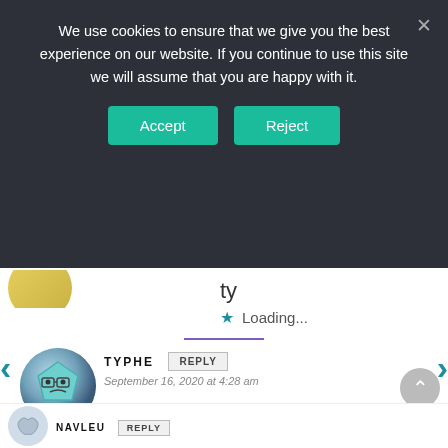We use cookies to ensure that we give you the best experience on our website. If you continue to use this site we will assume that you are happy with it.
[Figure (screenshot): Cookie consent banner with Accept and Reject buttons on dark background]
ty
Loading...
TYPHE
September 16, 2020 at 4:28 am
Hey at least one out of those two isn't an idiot.
[Figure (screenshot): Hulu Disney+ ESPN+ Get the Disney Bundle advertisement banner]
NAVLEU